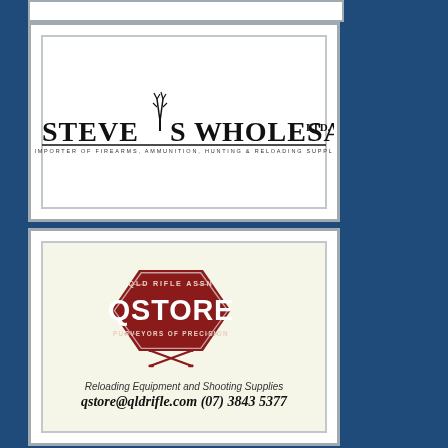[Figure (logo): Steve's Wholesale Ltd logo - importer of firearms, ammunition, hunting & reloading supplies]
[Figure (logo): QLD Rifle Association QSTORE - Purveyors of Precision. Reloading Equipment and Shooting Supplies. qstore@qldrifle.com (07) 3843 5377]